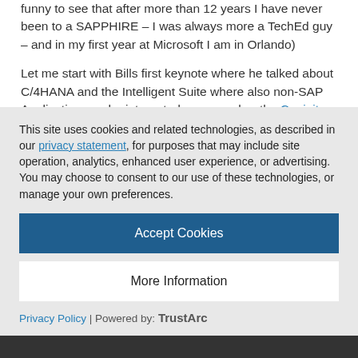funny to see that after more than 12 years I have never been to a SAPPHIRE – I was always more a TechEd guy – and in my first year at Microsoft I am in Orlando)
Let me start with Bills first keynote where he talked about C/4HANA and the Intelligent Suite where also non-SAP Application can be integrated — remember the Coginitve Demo that we had developed with BridigingIT to showase at out Booth? That it exactly an example how SAP and Microsoft Services can work together to bring customers the best of both Worlds! Combining the SAP Translation Hub running on the SAP Cloud
This site uses cookies and related technologies, as described in our privacy statement, for purposes that may include site operation, analytics, enhanced user experience, or advertising. You may choose to consent to our use of these technologies, or manage your own preferences.
Accept Cookies
More Information
Privacy Policy | Powered by: TrustArc